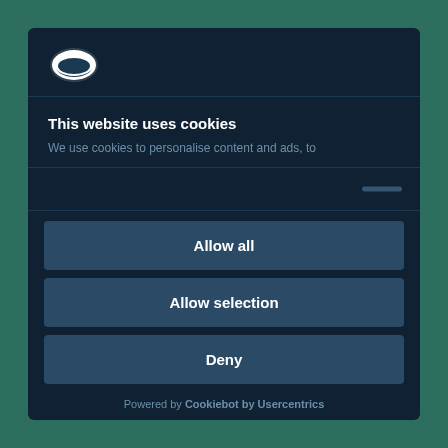[Figure (logo): Cookiebot logo - white cookie/disc icon on dark background]
This website uses cookies
We use cookies to personalise content and ads, to
Allow all
Allow selection
Deny
Powered by Cookiebot by Usercentrics